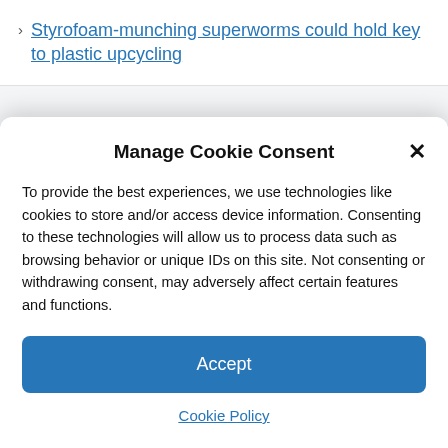Styrofoam-munching superworms could hold key to plastic upcycling
Manage Cookie Consent
To provide the best experiences, we use technologies like cookies to store and/or access device information. Consenting to these technologies will allow us to process data such as browsing behavior or unique IDs on this site. Not consenting or withdrawing consent, may adversely affect certain features and functions.
Accept
Cookie Policy